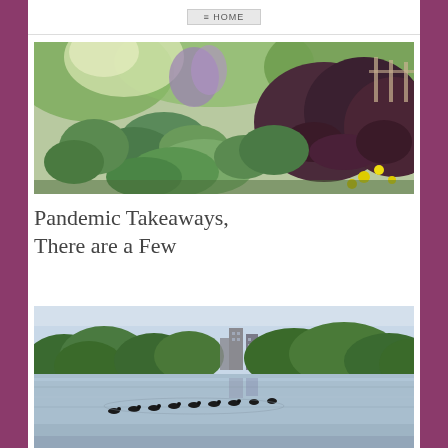HOME
[Figure (photo): Lush garden border with hostas, purple flowers, and dark-leafed shrubs with yellow flowers, sunlit green foliage and a wooden fence in the background]
Pandemic Takeaways, There are a Few
[Figure (photo): Lake or wetland scene with geese swimming in a line, trees along the shoreline, and tall buildings visible in the background under an overcast sky]